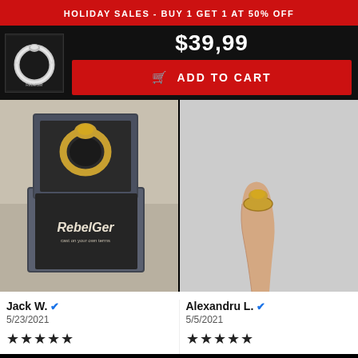HOLIDAY SALES - BUY 1 GET 1 AT 50% OFF
$39,99
ADD TO CART
[Figure (photo): Photo of a gold snake ring in a RebelGer branded jewelry box]
[Figure (photo): Photo of a gold snake ring worn on a finger]
Jack W. ✔
5/23/2021
★★★★★
Alexandru L. ✔
5/5/2021
★★★★★